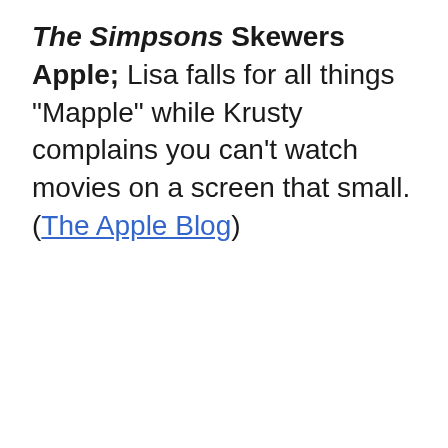The Simpsons Skewers Apple; Lisa falls for all things "Mapple" while Krusty complains you can't watch movies on a screen that small. (The Apple Blog)